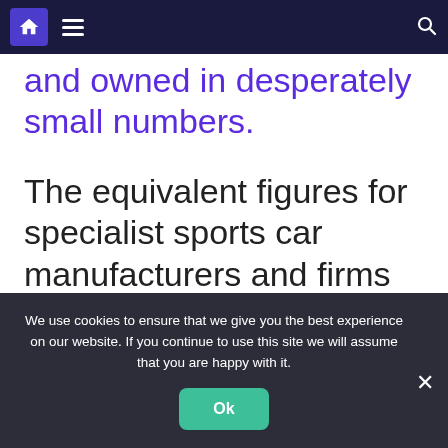Navigation bar with home, menu, and search icons
and owned in desperately small numbers.
The equivalent figures for specialist sports car manufacturers and firms making what the SMMT describes as ‘executive’ models aren’t much healthier. But on a more positive note, the opposite is true for SUVs, which we just can’t get enough of
We use cookies to ensure that we give you the best experience on our website. If you continue to use this site we will assume that you are happy with it.